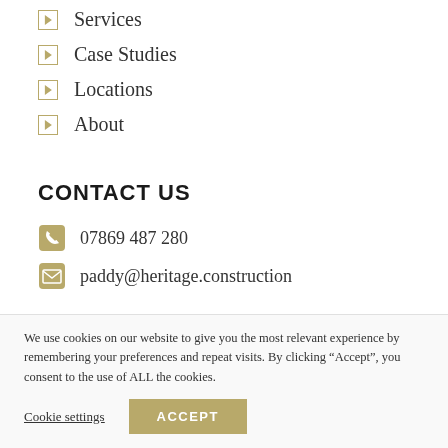Services
Case Studies
Locations
About
CONTACT US
07869 487 280
paddy@heritage.construction
[Figure (logo): TrustMark logo with teal and dark blue geometric house/chevron icon on the left and 'TRUSTMARK' text in dark navy blue on the right]
We use cookies on our website to give you the most relevant experience by remembering your preferences and repeat visits. By clicking “Accept”, you consent to the use of ALL the cookies.
Cookie settings
ACCEPT